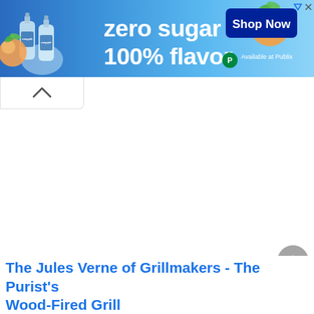[Figure (screenshot): Snapple advertisement banner with blue gradient background. Shows Snapple bottles on left, text 'zero sugar 100% flavor' in center-left, 'Shop Now' button in dark blue on right, and 'Available at Publix' with green P logo at bottom right. Small ad icons at top right corner.]
[Figure (screenshot): White rounded tab with upward-pointing chevron arrow indicating scroll up or collapse functionality.]
[Figure (screenshot): Gray circular back-to-top button with upward-pointing chevron arrow, positioned at bottom right of page.]
The Jules Verne of Grillmakers - The Purist's Wood-Fired Grill